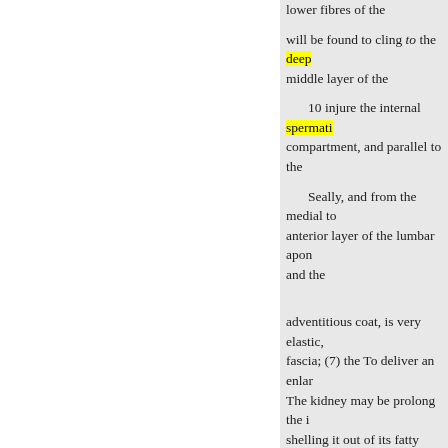lower fibres of the
will be found to cling to the deep middle layer of the
10 injure the internal spermatic compartment, and parallel to the
Seally, and from the medial to anterior layer of the lumbar aponeurosis and the
adventitious coat, is very elastic, fascia; (7) the To deliver an enlarged The kidney may be prolong the i shelling it out of its fatty capsule
may be necessary to divide, fracture the
In operating on the kidney, t's downwards and
pane will transfix the supra 0